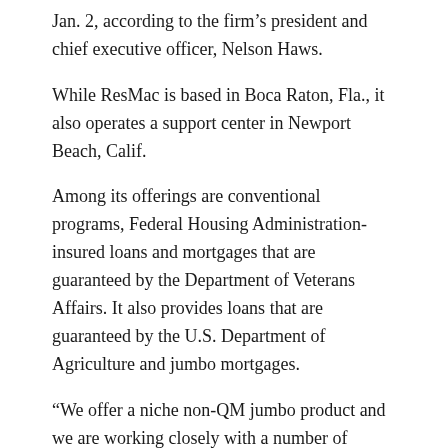Jan. 2, according to the firm's president and chief executive officer, Nelson Haws.
While ResMac is based in Boca Raton, Fla., it also operates a support center in Newport Beach, Calif.
Among its offerings are conventional programs, Federal Housing Administration-insured loans and mortgages that are guaranteed by the Department of Veterans Affairs. It also provides loans that are guaranteed by the U.S. Department of Agriculture and jumbo mortgages.
“We offer a niche non-QM jumbo product and we are working closely with a number of partners to develop other non-QM products,” HAWS said in a written